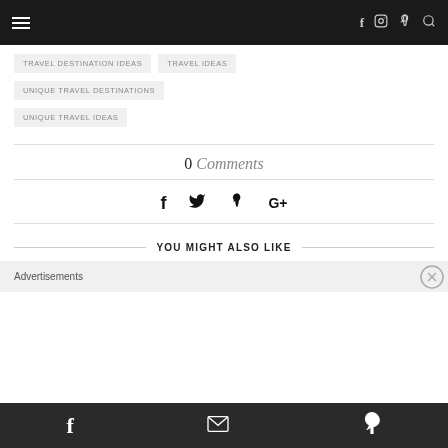Navigation header with hamburger menu and social icons (f, instagram, pinterest, search)
TRAVEL DESTINATION IDEAS
TRAVEL IDEAS
UNIQUE TRAVEL DESTINATIONS
UNIQUE TRAVEL IDEAS
0 Comments
[Figure (infographic): Social share icons: Facebook, Twitter, Pinterest, Google+]
YOU MIGHT ALSO LIKE
Advertisements
Footer with Facebook, email, and Pinterest icons